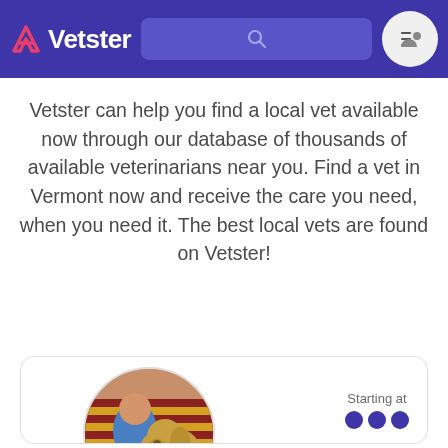Vetster — navigation bar with logo, search bar, menu and user icon
Vetster can help you find a local vet available now through our database of thousands of available veterinarians near you. Find a vet in Vermont now and receive the care you need, when you need it. The best local vets are found on Vetster!
[Figure (screenshot): Vetster vet profile card showing a circular photo of a veterinarian with a dog, and 'Starting at' pricing section]